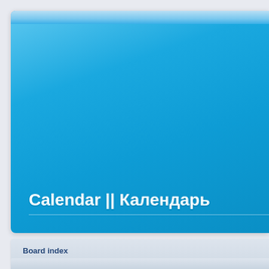[Figure (screenshot): Blue gradient header banner for a forum or website, with a top lighter bar and a large blue area.]
Calendar || Календарь
Board index
FAQ   Mini-Chat